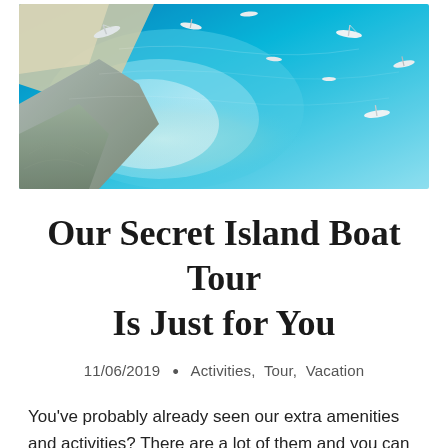[Figure (photo): Aerial view of a stunning turquoise bay with sandy beach, rocky cliffs, and several white sailboats and yachts anchored in crystal-clear blue water.]
Our Secret Island Boat Tour Is Just for You
11/06/2019  •  Activities, Tour, Vacation
You've probably already seen our extra amenities and activities? There are a lot of them and you can enjoy